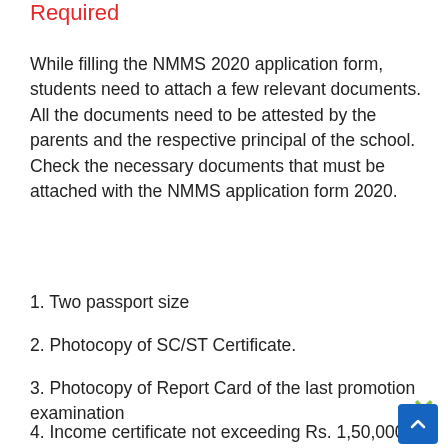Required
While filling the NMMS 2020 application form, students need to attach a few relevant documents. All the documents need to be attested by the parents and the respective principal of the school. Check the necessary documents that must be attached with the NMMS application form 2020.
1. Two passport size
2. Photocopy of SC/ST Certificate.
3. Photocopy of Report Card of the last promotion examination
4. Income certificate not exceeding Rs. 1,50,000/-